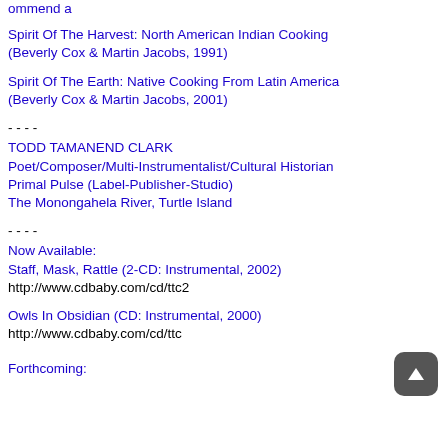ommend a
Spirit Of The Harvest: North American Indian Cooking (Beverly Cox & Martin Jacobs, 1991)
Spirit Of The Earth: Native Cooking From Latin America (Beverly Cox & Martin Jacobs, 2001)
- - - -
TODD TAMANEND CLARK
Poet/Composer/Multi-Instrumentalist/Cultural Historian
Primal Pulse (Label-Publisher-Studio)
The Monongahela River, Turtle Island
- - - -
Now Available:
Staff, Mask, Rattle (2-CD: Instrumental, 2002)
http://www.cdbaby.com/cd/ttc2
Owls In Obsidian (CD: Instrumental, 2000)
http://www.cdbaby.com/cd/ttc
Forthcoming: